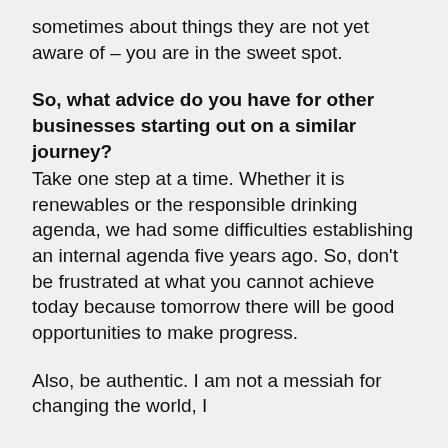sometimes about things they are not yet aware of – you are in the sweet spot.
So, what advice do you have for other businesses starting out on a similar journey?
Take one step at a time. Whether it is renewables or the responsible drinking agenda, we had some difficulties establishing an internal agenda five years ago. So, don't be frustrated at what you cannot achieve today because tomorrow there will be good opportunities to make progress.
Also, be authentic. I am not a messiah for changing the world, I